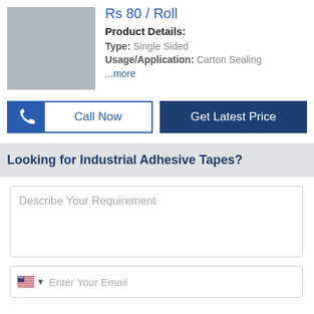Rs 80 / Roll
Product Details:
Type: Single Sided
Usage/Application: Carton Sealing
...more
[Figure (other): Product image placeholder (grey rectangle)]
Call Now
Get Latest Price
Looking for Industrial Adhesive Tapes?
Describe Your Requirement
Enter Your Email